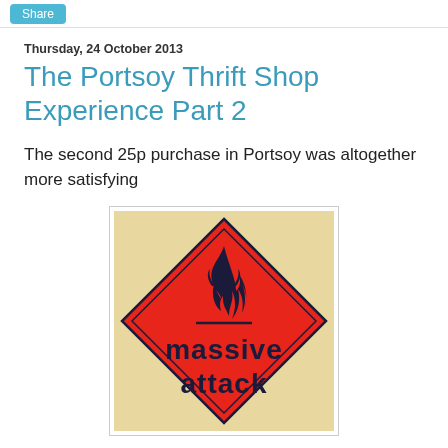Share
Thursday, 24 October 2013
The Portsoy Thrift Shop Experience Part 2
The second 25p purchase in Portsoy was altogether more satisfying
[Figure (illustration): Massive Attack album cover showing a red diamond-shaped hazard warning sign with a flame symbol on top and the text 'massive attack' in bold dark lettering. Background is a light beige/tan color.]